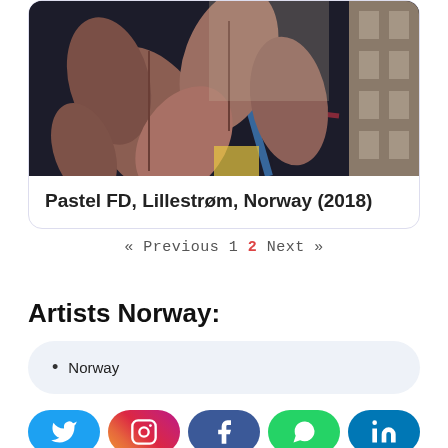[Figure (photo): Mural artwork showing large decorative leaves in brown/mauve tones with blue geometric elements, painted on a building wall. Street art scene in Lillestrøm, Norway, 2018.]
Pastel FD, Lillestrøm, Norway (2018)
« Previous 1 2 Next »
Artists Norway:
Norway
[Figure (infographic): Social media share buttons: Twitter, Instagram, Facebook, WhatsApp, LinkedIn]